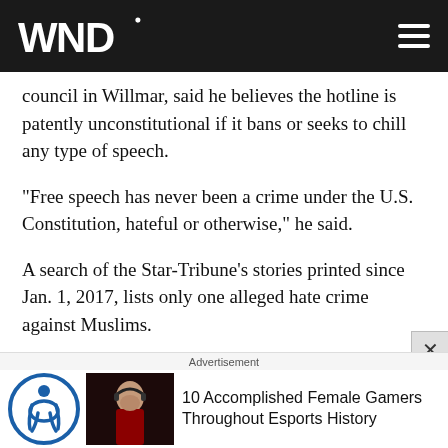WND
council in Willmar, said he believes the hotline is patently unconstitutional if it bans or seeks to chill any type of speech.
"Free speech has never been a crime under the U.S. Constitution, hateful or otherwise," he said.
A search of the Star-Tribune's stories printed since Jan. 1, 2017, lists only one alleged hate crime against Muslims.
"This new hotline is nothing but a red herring, designed to ingratiate Minneapolis Mayor Betsy Hodges to the
Advertisement
10 Accomplished Female Gamers Throughout Esports History